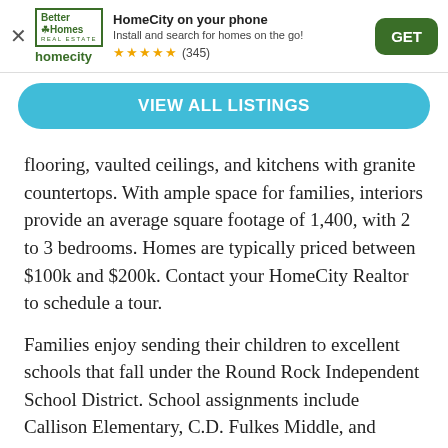[Figure (screenshot): App banner for HomeCity / Better Homes and Gardens Real Estate with logo, app description, star rating (345), and GET button]
VIEW ALL LISTINGS
flooring, vaulted ceilings, and kitchens with granite countertops. With ample space for families, interiors provide an average square footage of 1,400, with 2 to 3 bedrooms. Homes are typically priced between $100k and $200k. Contact your HomeCity Realtor to schedule a tour.
Families enjoy sending their children to excellent schools that fall under the Round Rock Independent School District. School assignments include Callison Elementary, C.D. Fulkes Middle, and Cedar Ridge High School. Windy Park listings are also near private schools like Round Rock Christian Academy, Kingdom Heights